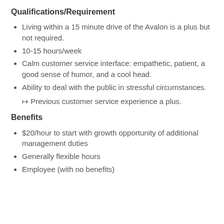Qualifications/Requirement
Living within a 15 minute drive of the Avalon is a plus but not required.
10-15 hours/week
Calm customer service interface: empathetic, patient, a good sense of humor, and a cool head.
Ability to deal with the public in stressful circumstances.
↦ Previous customer service experience a plus.
Benefits
$20/hour to start with growth opportunity of additional management duties
Generally flexible hours
Employee (with no benefits)